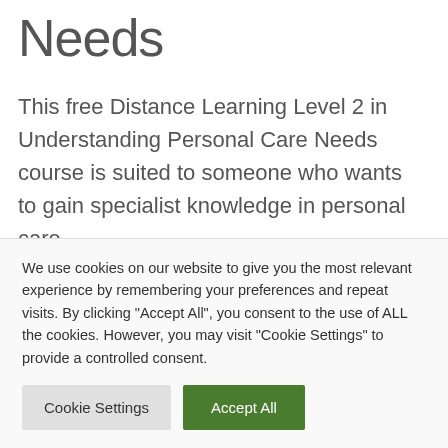Needs
This free Distance Learning Level 2 in Understanding Personal Care Needs course is suited to someone who wants to gain specialist knowledge in personal care.
It is ideal for someone who works in Health or Social Care.  Due to the amount of people who
We use cookies on our website to give you the most relevant experience by remembering your preferences and repeat visits. By clicking "Accept All", you consent to the use of ALL the cookies. However, you may visit "Cookie Settings" to provide a controlled consent.